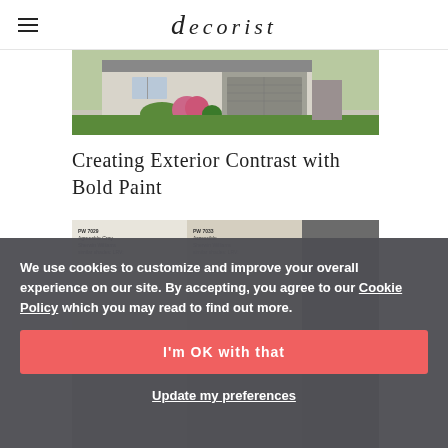decorist
[Figure (photo): Exterior photo of a house with gray garage door, landscaping with pink flowers, green shrubs and lawn]
Creating Exterior Contrast with Bold Paint
[Figure (photo): Paint swatches and a dark gray door/panel showing exterior paint color options]
We use cookies to customize and improve your overall experience on our site. By accepting, you agree to our Cookie Policy which you may read to find out more.
I'm OK with that
Update my preferences